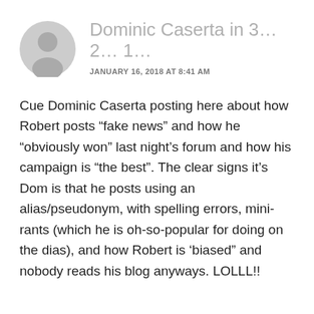Dominic Caserta in 3… 2… 1…
JANUARY 16, 2018 AT 8:41 AM
Cue Dominic Caserta posting here about how Robert posts “fake news” and how he “obviously won” last night’s forum and how his campaign is “the best”. The clear signs it’s Dom is that he posts using an alias/pseudonym, with spelling errors, mini-rants (which he is oh-so-popular for doing on the dias), and how Robert is ‘biased” and nobody reads his blog anyways. LOLLL!!